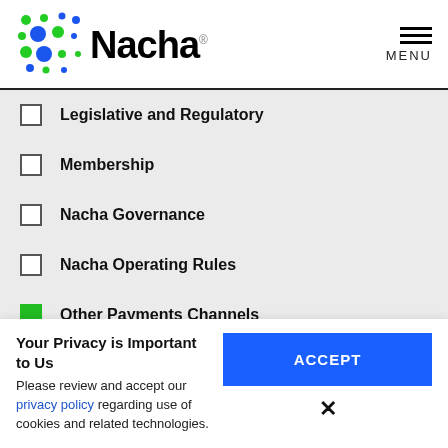[Figure (logo): Nacha logo with colorful dot pattern and bold 'Nacha' wordmark]
MENU
Legislative and Regulatory
Membership
Nacha Governance
Nacha Operating Rules
Other Payments Channels
Your Privacy is Important to Us
Please review and accept our privacy policy regarding use of cookies and related technologies.